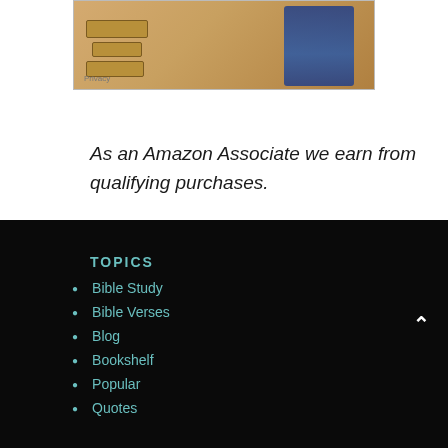[Figure (photo): Amazon advertisement banner showing cardboard Amazon boxes and a person celebrating, with a Privacy label in the bottom left corner]
As an Amazon Associate we earn from qualifying purchases.
TOPICS
Bible Study
Bible Verses
Blog
Bookshelf
Popular
Quotes